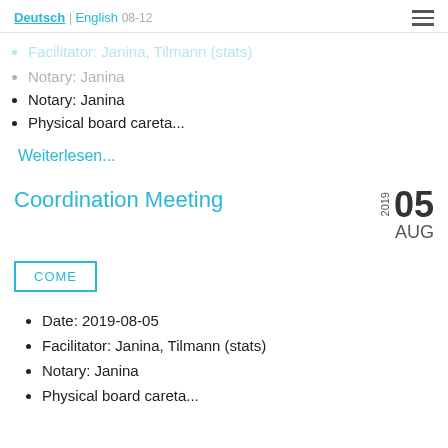Deutsch | English 08-12
Facilitator: Janina, Tilmann (stats)
Notary: Janina
Physical board careta...
Weiterlesen...
Coordination Meeting
05 AUG 2019
COME
Date: 2019-08-05
Facilitator: Janina, Tilmann (stats)
Notary: Janina
Physical board careta...